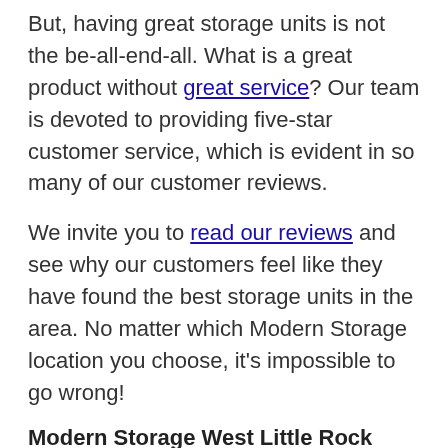But, having great storage units is not the be-all-end-all. What is a great product without great service? Our team is devoted to providing five-star customer service, which is evident in so many of our customer reviews.
We invite you to read our reviews and see why our customers feel like they have found the best storage units in the area. No matter which Modern Storage location you choose, it's impossible to go wrong!
Modern Storage West Little Rock
When our newest storage location opened earlier this year off Chenal Parkway, the reviews and responses from the neighborhood were exciting. We are delighted to the best storage options with the latest technology to those of you living in West Little Rock!
One person felt so safe and secure, that they wondered what